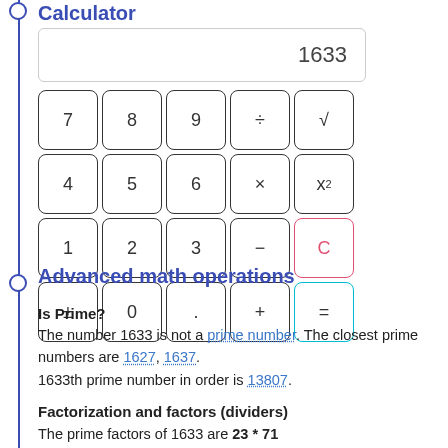Calculator
[Figure (screenshot): Calculator widget showing display with value 1633 and a 4x5 button grid with digits 0-9, operators +, -, *, ÷, √, x², ±, ., C, and = buttons]
Advanced math operations
Is Prime?
The number 1633 is not a prime number. The closest prime numbers are 1627, 1637.
1633th prime number in order is 13807.
Factorization and factors (dividers)
The prime factors of 1633 are 23 * 71